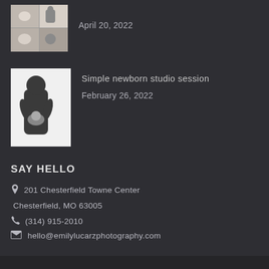[Figure (photo): Thumbnail collage of newborn photos, 2x2 grid]
April 20, 2022
[Figure (photo): Photo of person holding a newborn baby, silhouette on light background]
Simple newborn studio session
February 26, 2022
SAY HELLO
201 Chesterfield Towne Center
Chesterfield, MO 63005
(314) 915-2010
hello@emilylucarzphotography.com